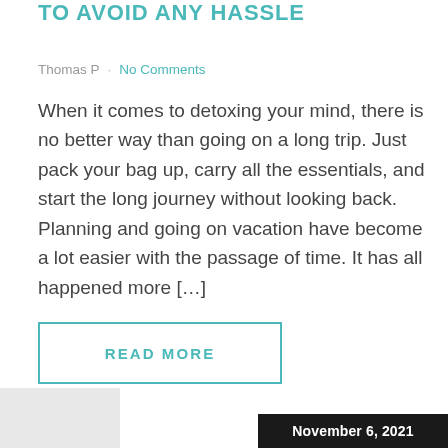TO AVOID ANY HASSLE
Thomas P · No Comments
When it comes to detoxing your mind, there is no better way than going on a long trip. Just pack your bag up, carry all the essentials, and start the long journey without looking back. Planning and going on vacation have become a lot easier with the passage of time. It has all happened more […]
READ MORE
November 6, 2021